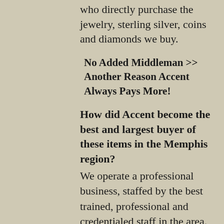who directly purchase the jewelry, sterling silver, coins and diamonds we buy.
No Added Middleman >> Another Reason Accent Always Pays More!
How did Accent become the best and largest buyer of these items in the Memphis region?
We operate a professional business, staffed by the best trained, professional and credentialed staff in the area. When you take your jewelry or coins to Accent, it is handled carefully and evaluated by knowledgeable people. We are pleased to explain how we arrive at our offers, keeping you informed at every step. Learn more about our